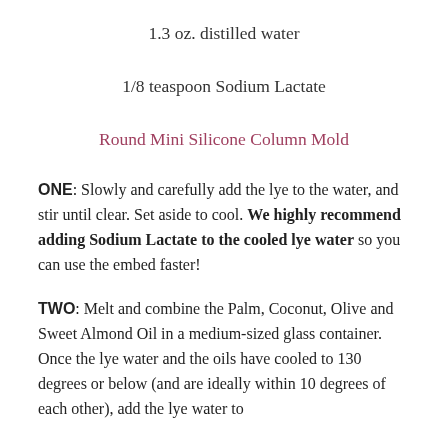1.3 oz. distilled water
1/8 teaspoon Sodium Lactate
Round Mini Silicone Column Mold
ONE: Slowly and carefully add the lye to the water, and stir until clear. Set aside to cool. We highly recommend adding Sodium Lactate to the cooled lye water so you can use the embed faster!
TWO: Melt and combine the Palm, Coconut, Olive and Sweet Almond Oil in a medium-sized glass container. Once the lye water and the oils have cooled to 130 degrees or below (and are ideally within 10 degrees of each other), add the lye water to